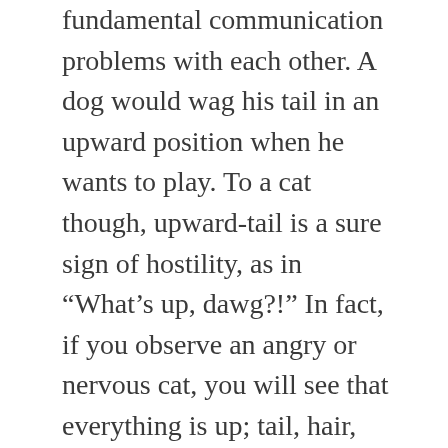fundamental communication problems with each other. A dog would wag his tail in an upward position when he wants to play. To a cat though, upward-tail is a sure sign of hostility, as in “What’s up, dawg?!” In fact, if you observe an angry or nervous cat, you will see that everything is up; tail, hair, toes, even her spine. So imagine the dog’s confusion in this situation, where he just sent a friendly signal that he wants to play with the cat, and what he gets back are loud hisses and scary evil eyes—but along with an upward tail that “looks” like a peace sign to him. Yeah, I admit that I am a bona-